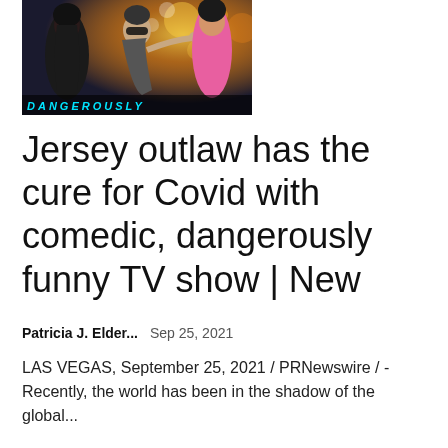[Figure (photo): Photo of three people at a nightclub or party scene with bright bokeh lights in the background. Text overlay at bottom reads 'DANGEROUSLY' in stylized teal/cyan letters.]
Jersey outlaw has the cure for Covid with comedic, dangerously funny TV show | New
Patricia J. Elder...    Sep 25, 2021
LAS VEGAS, September 25, 2021 / PRNewswire / - Recently, the world has been in the shadow of the global...